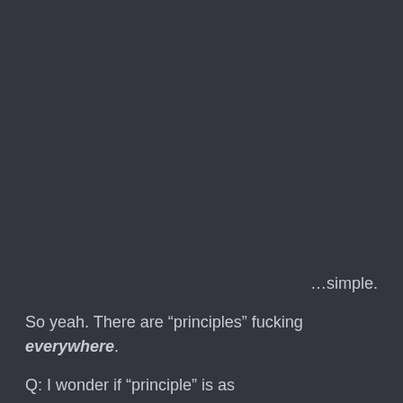…simple.
So yeah. There are “principles” fucking everywhere.
Q: I wonder if “principle” is as